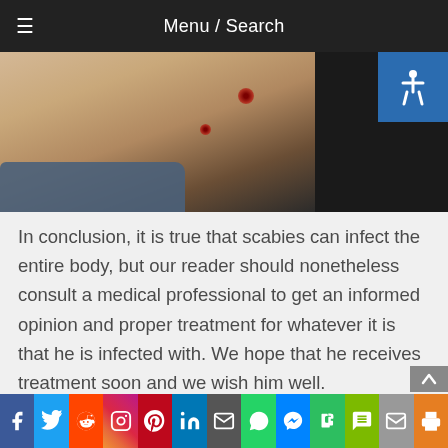Menu / Search
[Figure (photo): Close-up photo of skin showing reddish bumps/lesions characteristic of scabies infection, with dark background and blue clothing visible at bottom]
In conclusion, it is true that scabies can infect the entire body, but our reader should nonetheless consult a medical professional to get an informed opinion and proper treatment for whatever it is that he is infected with. We hope that he receives treatment soon and we wish him well.
[Figure (infographic): Social media sharing bar with icons for Facebook, Twitter, Reddit, Instagram, Pinterest, LinkedIn, Email, WhatsApp, Messenger, Evernote, SMS, Mail, Print]